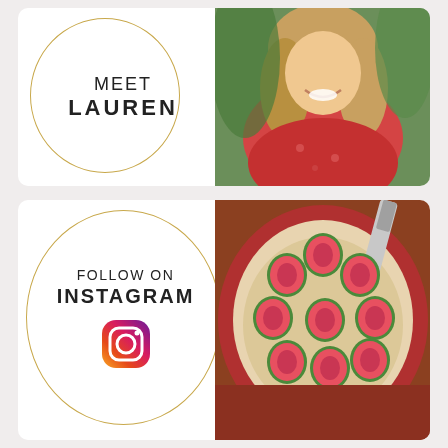[Figure (infographic): Card with 'MEET LAUREN' text inside a gold circle on white background, with photo of smiling blonde woman in red floral dress on right side]
[Figure (infographic): Card with 'FOLLOW ON INSTAGRAM' text and Instagram logo icon inside a gold circle on white background, with overhead photo of fig tart on right side]